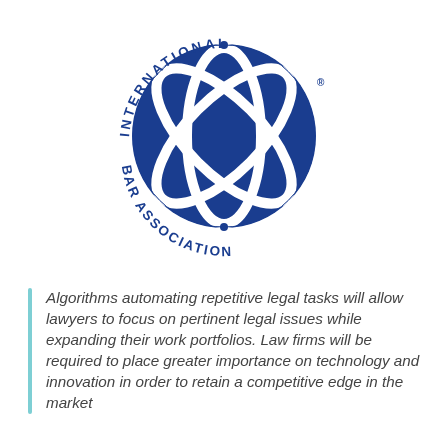[Figure (logo): International Bar Association circular logo with blue globe/sphere and crossing white lines forming an X pattern. Text around the circle reads 'INTERNATIONAL BAR ASSOCIATION' with a registered trademark symbol.]
Algorithms automating repetitive legal tasks will allow lawyers to focus on pertinent legal issues while expanding their work portfolios. Law firms will be required to place greater importance on technology and innovation in order to retain a competitive edge in the market